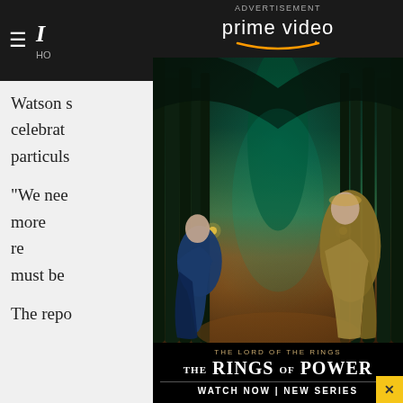≡  I  HO
Watson s[...] e for celebrat[...] sisted particuls[...] ple with cancer.
"We nee[...] t there is more [...] oung Kiwis re[...] or ethnicity[...] ple must be[...]
The repo[...] on that
[Figure (screenshot): Amazon Prime Video advertisement overlay for 'The Lord of the Rings: The Rings of Power'. Shows two fantasy characters in a glowing forest pathway. Top has Prime Video logo with Amazon arrow. Bottom shows 'THE LORD OF THE RINGS - THE RINGS OF POWER - WATCH NOW | NEW SERIES'. Close button (X) in top-right corner in blue. Small X in bottom-right corner.]